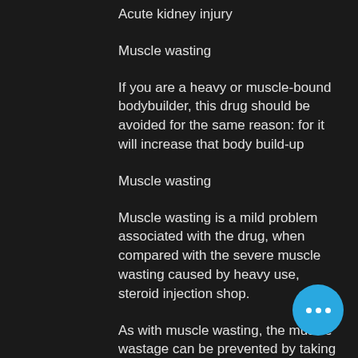Acute kidney injury
Muscle wasting
If you are a heavy or muscle-bound bodybuilder, this drug should be avoided for the same reason: for it will increase that body build-up
Muscle wasting
Muscle wasting is a mild problem associated with the drug, when compared with the severe muscle wasting caused by heavy use, steroid injection shop.
As with muscle wasting, the muscle wastage can be prevented by taking drug treatment.
Muscle wasting also tends to appear in form of muscle twitching and loss of movement in the legs, anabolic steroid